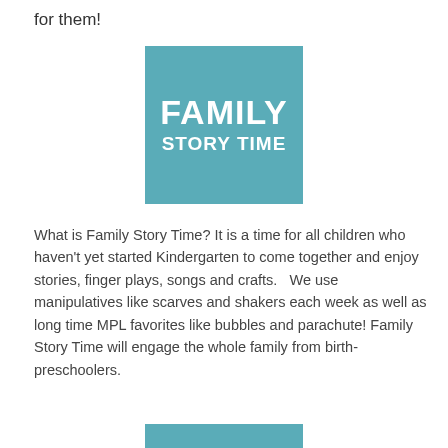for them!
[Figure (logo): Family Story Time logo: teal/blue-green square with white bold text reading FAMILY STORY TIME]
What is Family Story Time? It is a time for all children who haven't yet started Kindergarten to come together and enjoy stories, finger plays, songs and crafts.   We use manipulatives like scarves and shakers each week as well as long time MPL favorites like bubbles and parachute! Family Story Time will engage the whole family from birth-preschoolers.
[Figure (other): Partial teal rectangle at the bottom of the page]